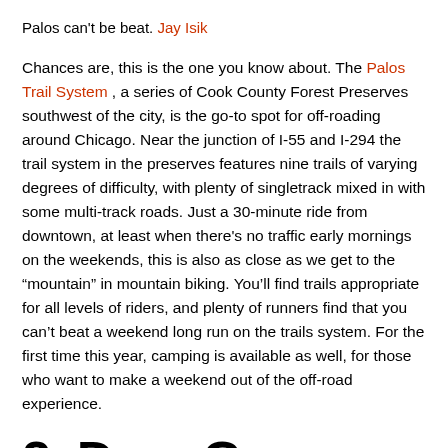Palos can't be beat. Jay Isik
Chances are, this is the one you know about. The Palos Trail System , a series of Cook County Forest Preserves southwest of the city, is the go-to spot for off-roading around Chicago. Near the junction of I-55 and I-294 the trail system in the preserves features nine trails of varying degrees of difficulty, with plenty of singletrack mixed in with some multi-track roads. Just a 30-minute ride from downtown, at least when there's no traffic early mornings on the weekends, this is also as close as we get to the “mountain” in mountain biking. You’ll find trails appropriate for all levels of riders, and plenty of runners find that you can’t beat a weekend long run on the trails system. For the first time this year, camping is available as well, for those who want to make a weekend out of the off-road experience.
2. Deer Grove